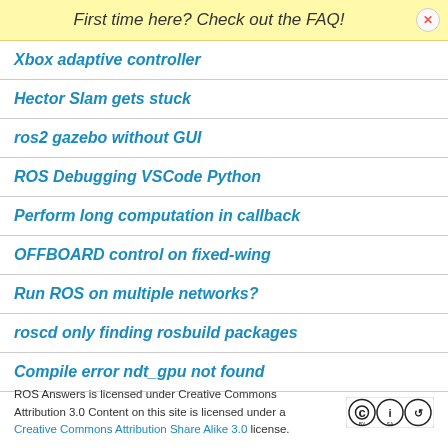First time here? Check out the FAQ!
Xbox adaptive controller
Hector Slam gets stuck
ros2 gazebo without GUI
ROS Debugging VSCode Python
Perform long computation in callback
OFFBOARD control on fixed-wing
Run ROS on multiple networks?
roscd only finding rosbuild packages
Compile error ndt_gpu not found
ROS Answers is licensed under Creative Commons Attribution 3.0 Content on this site is licensed under a Creative Commons Attribution Share Alike 3.0 license.